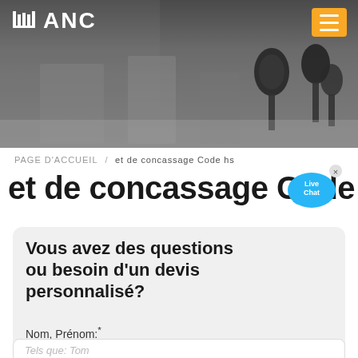[Figure (photo): Header banner showing a blurry industrial or conference room with microphones in the foreground. ANC logo and hamburger menu button visible.]
PAGE D'ACCUEIL / et de concassage Code hs
et de concassage Code hs
[Figure (illustration): Live Chat speech bubble icon in cyan/blue]
Vous avez des questions ou besoin d'un devis personnalisé?
Nom, Prénom:*
Tels que: Tom